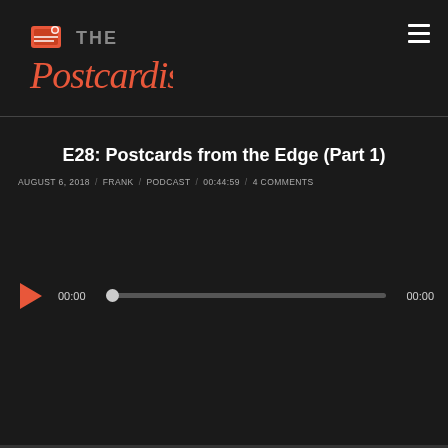[Figure (logo): The Postcardist podcast logo — stylized script text with a postcard icon]
E28: Postcards from the Edge (Part 1)
AUGUST 6, 2018 / FRANK / PODCAST / 00:44:59 / 4 COMMENTS
[Figure (other): Audio player widget with play button, progress bar at 00:00, and end time 00:00]